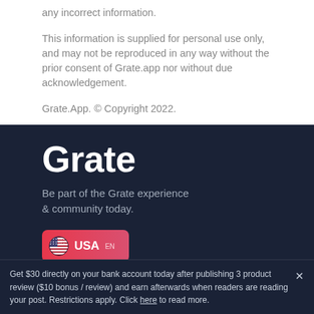any incorrect information.
This information is supplied for personal use only, and may not be reproduced in any way without the prior consent of Grate.app nor without due acknowledgement.
Grate.App. © Copyright 2022.
Grate
Be part of the Grate experience & community today.
[Figure (other): USA EN button with flag icon in red/pink gradient]
Get $30 directly on your bank account today after publishing 3 product review ($10 bonus / review) and earn afterwards when readers are reading your post. Restrictions apply. Click here to read more.